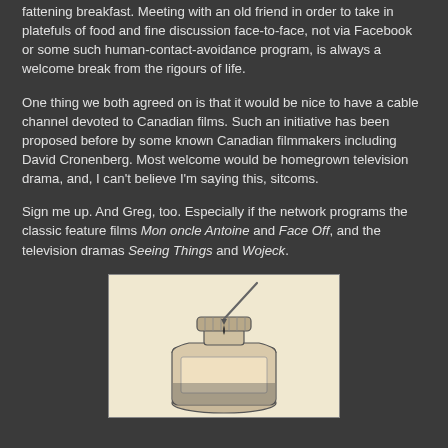fattening breakfast. Meeting with an old friend in order to take in platefuls of food and fine discussion face-to-face, not via Facebook or some such human-contact-avoidance program, is always a welcome break from the rigours of life.
One thing we both agreed on is that it would be nice to have a cable channel devoted to Canadian films. Such an initiative has been proposed before by some known Canadian filmmakers including David Cronenberg. Most welcome would be homegrown television drama, and, I can't believe I'm saying this, sitcoms.
Sign me up. And Greg, too. Especially if the network programs the classic feature films Mon oncle Antoine and Face Off, and the television dramas Seeing Things and Wojeck.
[Figure (illustration): Black and white illustration of an ink bottle with a dropper or pen nib above it, with ink dripping. The bottle has a circular ridged cap. The background is cream/off-white.]